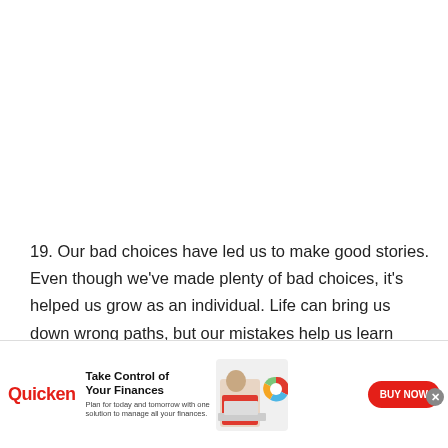19. Our bad choices have led us to make good stories. Even though we've made plenty of bad choices, it's helped us grow as an individual. Life can bring us down wrong paths, but our mistakes help us learn from them.
[Figure (infographic): Quicken advertisement banner: Quicken logo in red, headline 'Take Control of Your Finances', subtext 'Plan for today and tomorrow with one solution to manage all your finances.', image of woman at laptop with colorful donut chart overlay, red 'BUY NOW' pill button, and close (x) button.]